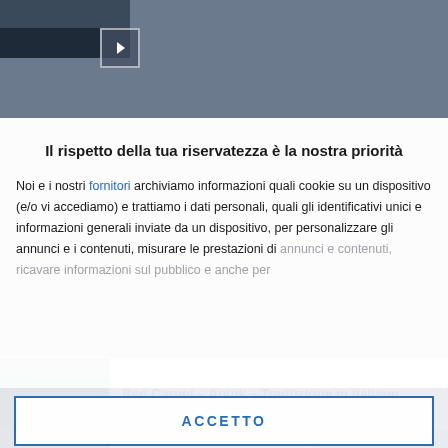[Figure (screenshot): Top portion of a webpage showing a thumbnail image and navigation arrow button on a dark blue-grey background]
Il rispetto della tua riservatezza è la nostra priorità
Noi e i nostri fornitori archiviamo informazioni quali cookie su un dispositivo (e/o vi accediamo) e trattiamo i dati personali, quali gli identificativi unici e informazioni generali inviate da un dispositivo, per personalizzare gli annunci e i contenuti, misurare le prestazioni di annunci e contenuti, ricavare informazioni sul pubblico e anche per
ACCETTO
PIÙ OPZIONI
Red Carpet – Apink – Traduzione in italiano
Agosto 3, 2022